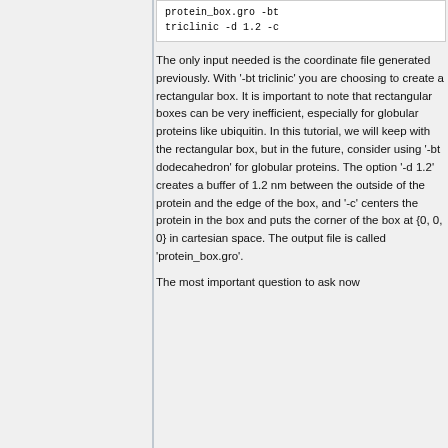protein_box.gro -bt triclinic -d 1.2 -c
The only input needed is the coordinate file generated previously. With '-bt triclinic' you are choosing to create a rectangular box. It is important to note that rectangular boxes can be very inefficient, especially for globular proteins like ubiquitin. In this tutorial, we will keep with the rectangular box, but in the future, consider using '-bt dodecahedron' for globular proteins. The option '-d 1.2' creates a buffer of 1.2 nm between the outside of the protein and the edge of the box, and '-c' centers the protein in the box and puts the corner of the box at {0, 0, 0} in cartesian space. The output file is called 'protein_box.gro'.
The most important question to ask now